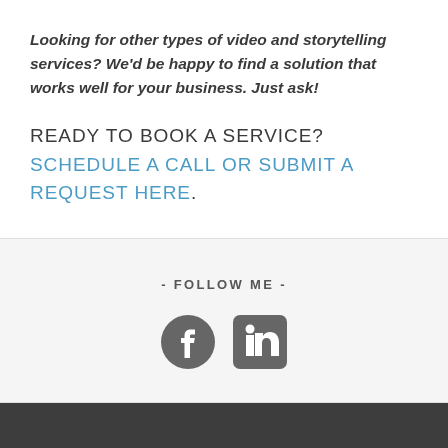Looking for other types of video and storytelling services? We'd be happy to find a solution that works well for your business. Just ask!
READY TO BOOK A SERVICE? SCHEDULE A CALL OR SUBMIT A REQUEST HERE.
- FOLLOW ME -
[Figure (illustration): Facebook and LinkedIn social media icons]
Dark footer bar